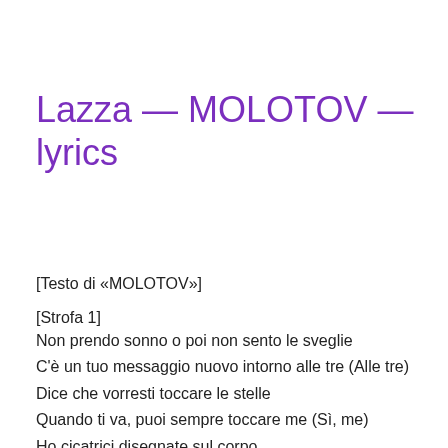Lazza — MOLOTOV — lyrics
[Testo di «MOLOTOV»]
[Strofa 1]
Non prendo sonno o poi non sento le sveglie
C'è un tuo messaggio nuovo intorno alle tre (Alle tre)
Dice che vorresti toccare le stelle
Quando ti va, puoi sempre toccare me (Sì, me)
Ho cicatrici disegnate sul corpo